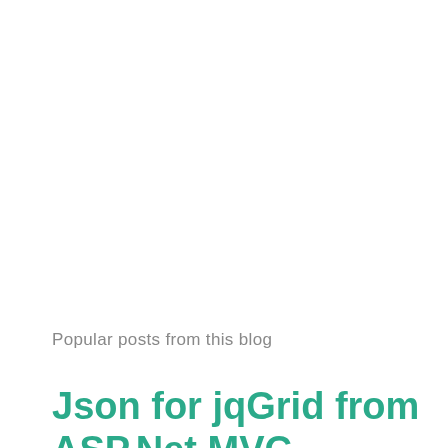Popular posts from this blog
Json for jqGrid from ASP.Net MVC